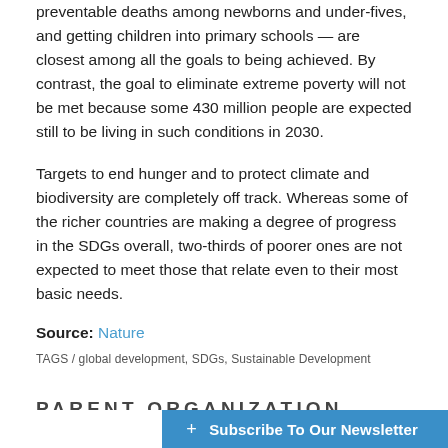preventable deaths among newborns and under-fives, and getting children into primary schools — are closest among all the goals to being achieved. By contrast, the goal to eliminate extreme poverty will not be met because some 430 million people are expected still to be living in such conditions in 2030.
Targets to end hunger and to protect climate and biodiversity are completely off track. Whereas some of the richer countries are making a degree of progress in the SDGs overall, two-thirds of poorer ones are not expected to meet those that relate even to their most basic needs.
Source: Nature
TAGS / global development, SDGs, Sustainable Development
PARENT ORGANIZATION
+ Subscribe To Our Newsletter